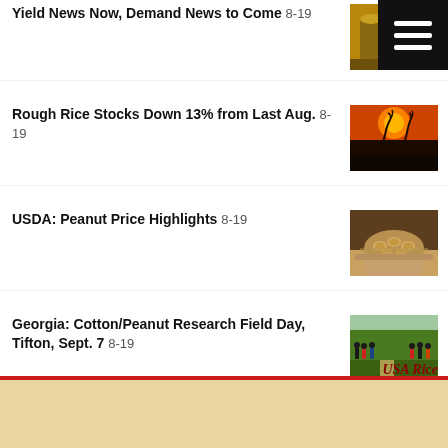Yield News Now, Demand News to Come 8-19
Rough Rice Stocks Down 13% from Last Aug. 8-19
USDA: Peanut Price Highlights 8-19
Georgia: Cotton/Peanut Research Field Day, Tifton, Sept. 7 8-19
Rice Stewardship Partnership Secures